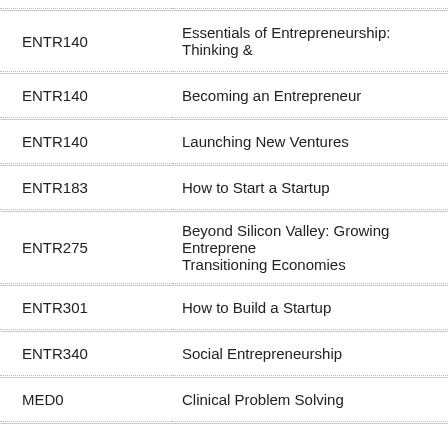| Code | Title |
| --- | --- |
| ENTR140 | Essentials of Entrepreneurship: Thinking & |
| ENTR140 | Becoming an Entrepreneur |
| ENTR140 | Launching New Ventures |
| ENTR183 | How to Start a Startup |
| ENTR275 | Beyond Silicon Valley: Growing Entrepreneurs in Transitioning Economies |
| ENTR301 | How to Build a Startup |
| ENTR340 | Social Entrepreneurship |
| MED0 | Clinical Problem Solving |